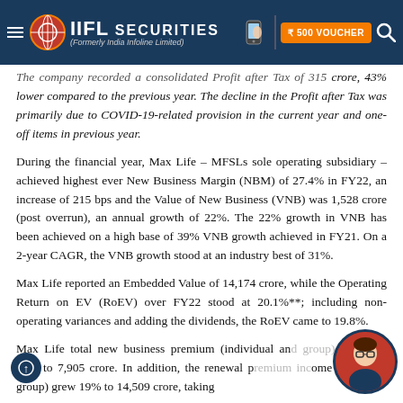IIFL Securities (Formerly India Infoline Limited)
The company recorded a consolidated Profit after Tax of 315 crore, 43% lower compared to the previous year. The decline in the Profit after Tax was primarily due to COVID-19-related provision in the current year and one-off items in previous year.
During the financial year, Max Life – MFSLs sole operating subsidiary – achieved highest ever New Business Margin (NBM) of 27.4% in FY22, an increase of 215 bps and the Value of New Business (VNB) was 1,528 crore (post overrun), an annual growth of 22%. The 22% growth in VNB has been achieved on a high base of 39% VNB growth achieved in FY21. On a 2-year CAGR, the VNB growth stood at an industry best of 31%.
Max Life reported an Embedded Value of 14,174 crore, while the Operating Return on EV (RoEV) over FY22 stood at 20.1%**; including non-operating variances and adding the dividends, the RoEV came to 19.8%.
Max Life total new business premium (individual and group) increased 16% to 7,905 crore. In addition, the renewal premium income (including group) grew 19% to 14,509 crore, taking…